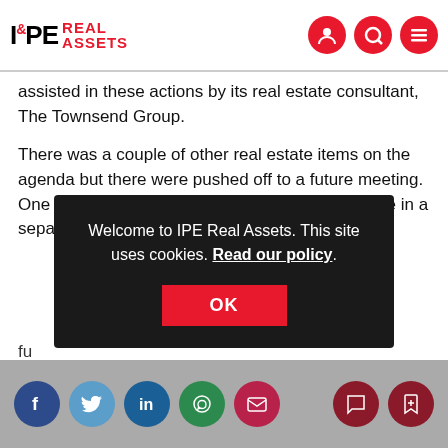IPE Real Assets
assisted in these actions by its real estate consultant, The Townsend Group.
There was a couple of other real estate items on the agenda but there were pushed off to a future meeting. One was to approve the sale of properties that are in a separate account managed by American R[...] in [...] by th[...] s in [...] n fu[...]
Welcome to IPE Real Assets. This site uses cookies. Read our policy.
Social sharing icons: Facebook, Twitter, LinkedIn, WhatsApp, Email, Comment, Bookmark